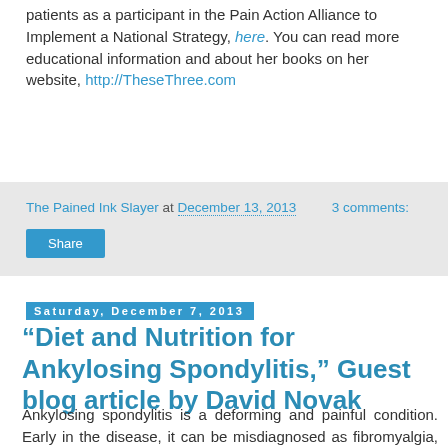patients as a participant in the Pain Action Alliance to Implement a National Strategy, here. You can read more educational information and about her books on her website, http://TheseThree.com
The Pained Ink Slayer at December 13, 2013   3 comments:
Share
Saturday, December 7, 2013
“Diet and Nutrition for Ankylosing Spondylitis,” Guest blog article by David Novak
Ankylosing spondylitis is a deforming and painful condition. Early in the disease, it can be misdiagnosed as fibromyalgia, or it can be an aggravating factor to many painful conditions.